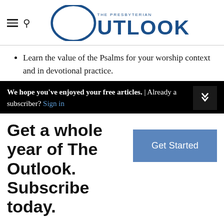The Presbyterian Outlook
Learn the value of the Psalms for your worship context and in devotional practice.
We hope you've enjoyed your free articles. | Already a subscriber? Sign in
Get a whole year of The Outlook. Subscribe today.
You have viewed 1 out of 3 free page views.